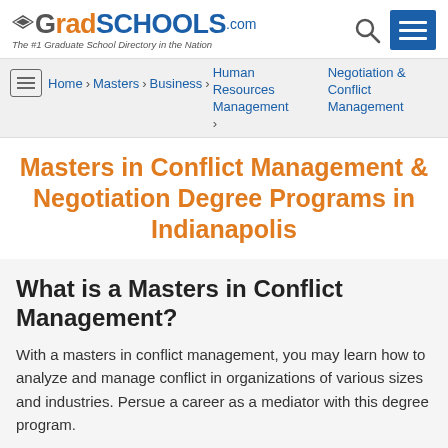GradSchools.com — The #1 Graduate School Directory in the Nation
Home > Masters > Business > Human Resources Management > Negotiation & Conflict Management
Masters in Conflict Management & Negotiation Degree Programs in Indianapolis
What is a Masters in Conflict Management?
With a masters in conflict management, you may learn how to analyze and manage conflict in organizations of various sizes and industries. Persue a career as a mediator with this degree program.